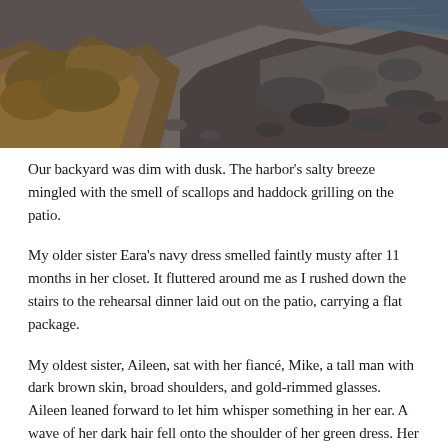[Figure (photo): Coastal rocky shoreline with dark volcanic rocks, dry brown scrubby vegetation in the foreground and calm dark blue ocean water in the background, taken from an elevated vantage point in natural daylight.]
Our backyard was dim with dusk. The harbor's salty breeze mingled with the smell of scallops and haddock grilling on the patio.
My older sister Eara's navy dress smelled faintly musty after 11 months in her closet. It fluttered around me as I rushed down the stairs to the rehearsal dinner laid out on the patio, carrying a flat package.
My oldest sister, Aileen, sat with her fiancé, Mike, a tall man with dark brown skin, broad shoulders, and gold-rimmed glasses. Aileen leaned forward to let him whisper something in her ear. A wave of her dark hair fell onto the shoulder of her green dress. Her expression relaxed into a quick smile before resuming its concentration.